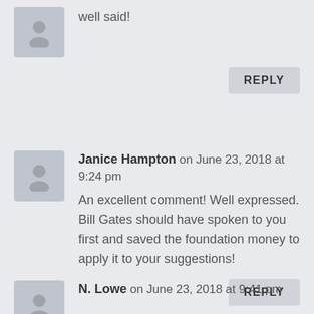[Figure (illustration): Generic user avatar icon (silhouette of a person), grey background]
well said!
REPLY
[Figure (illustration): Generic user avatar icon (silhouette of a person), grey background]
Janice Hampton on June 23, 2018 at 9:24 pm
An excellent comment! Well expressed. Bill Gates should have spoken to you first and saved the foundation money to apply it to your suggestions!
REPLY
[Figure (illustration): Generic user avatar icon (silhouette of a person), grey background]
N. Lowe on June 23, 2018 at 9:41 pm